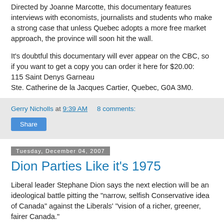Directed by Joanne Marcotte, this documentary features interviews with economists, journalists and students who make a strong case that unless Quebec adopts a more free market approach, the province will soon hit the wall.
It's doubtful this documentary will ever appear on the CBC, so if you want to get a copy you can order it here for $20.00:
115 Saint Denys Garneau
Ste. Catherine de la Jacques Cartier, Quebec, G0A 3M0.
Gerry Nicholls at 9:39 AM   8 comments:
Share
Tuesday, December 04, 2007
Dion Parties Like it's 1975
Liberal leader Stephane Dion says the next election will be an ideological battle pitting the "narrow, selfish Conservative idea of Canada" against the Liberals' "vision of a richer, greener, fairer Canada."